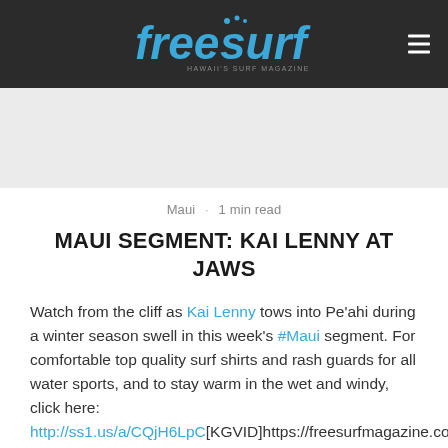freesurf — Hawaii's Surf Magazine
Maui · 1 min read
MAUI SEGMENT: KAI LENNY AT JAWS
Watch from the cliff as Kai Lenny tows into Pe'ahi during a winter season swell in this week's #Maui segment. For comfortable top quality surf shirts and rash guards for all water sports, and to stay warm in the wet and windy, click here: http://ss1.us/a/CQjH6LpC[KGVID]https://freesurfmagazine.com/wp-content/uploads/2017/11/Maui_KaiLennyTowJaws_@tyler.m